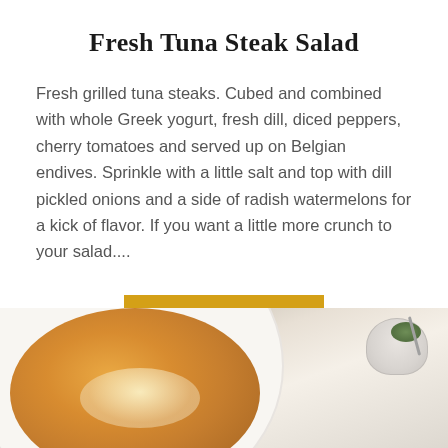Fresh Tuna Steak Salad
Fresh grilled tuna steaks. Cubed and combined with whole Greek yogurt, fresh dill, diced peppers, cherry tomatoes and served up on Belgian endives. Sprinkle with a little salt and top with dill pickled onions and a side of radish watermelons for a kick of flavor. If you want a little more crunch to your salad....
READ MORE
[Figure (photo): Photo of a white bowl with orange-toned soup or stew dish, small condiment bowl with green herbs and spoon, and gray vases/cups in background on a light textured surface]